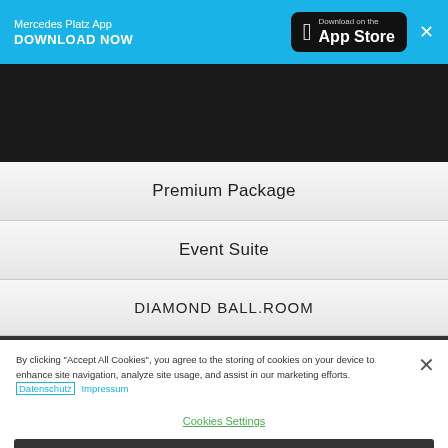[Figure (screenshot): App banner with blue background showing Mercedes Platz App download promotion with App Store button]
Mercedes Platz App
DOWNLOAD NOW
[Figure (screenshot): Dark navigation bar area]
Premium Package
Event Suite
DIAMOND BALL.ROOM
By clicking "Accept All Cookies", you agree to the storing of cookies on your device to enhance site navigation, analyze site usage, and assist in our marketing efforts. Datenschutz Impressum
Cookies Settings
Reject All
Accept All Cookies